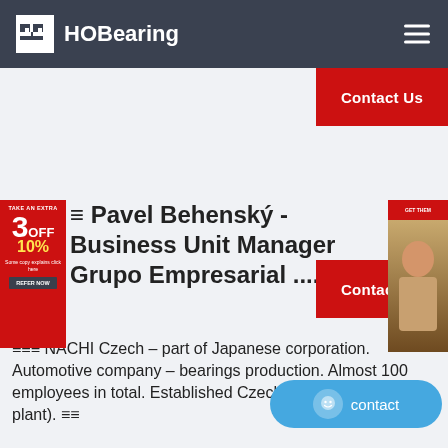HOBearing
[Figure (screenshot): Contact Us button (red, top right)]
[Figure (screenshot): Left advertisement banner: TAKE AN EXTRA 3OFF 10%]
[Figure (screenshot): Right advertisement banner: woman photo]
≡ Pavel Behenský - Business Unit Manager Grupo Empresarial .... ≡≡
≡≡≡ NACHI Czech – part of Japanese corporation. Automotive company – bearings production. Almost 100 employees in total. Established Czech branch (green field plant). ≡≡
[Figure (screenshot): Contact Us button (red, middle right)]
[Figure (screenshot): Floating blue contact button at bottom right]